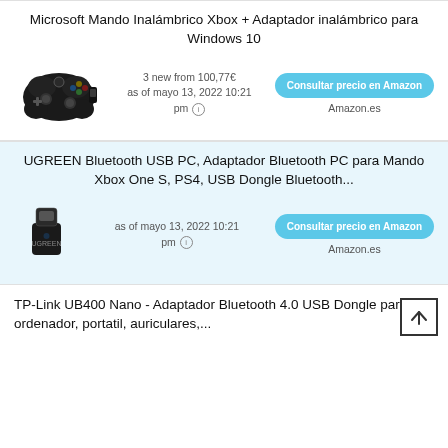Microsoft Mando Inalámbrico Xbox + Adaptador inalámbrico para Windows 10
[Figure (photo): Xbox wireless controller (black) with a small USB wireless adapter]
3 new from 100,77€ as of mayo 13, 2022 10:21 pm
Consultar precio en Amazon
Amazon.es
UGREEN Bluetooth USB PC, Adaptador Bluetooth PC para Mando Xbox One S, PS4, USB Dongle Bluetooth...
[Figure (photo): Small black USB Bluetooth dongle adapter]
as of mayo 13, 2022 10:21 pm
Consultar precio en Amazon
Amazon.es
TP-Link UB400 Nano - Adaptador Bluetooth 4.0 USB Dongle para ordenador, portatil, auriculares,...